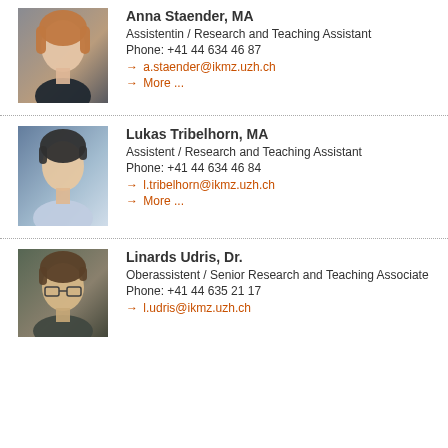[Figure (photo): Portrait photo of Anna Staender]
Anna Staender, MA
Assistentin / Research and Teaching Assistant
Phone: +41 44 634 46 87
→ a.staender@ikmz.uzh.ch
→ More ...
[Figure (photo): Portrait photo of Lukas Tribelhorn]
Lukas Tribelhorn, MA
Assistent / Research and Teaching Assistant
Phone: +41 44 634 46 84
→ l.tribelhorn@ikmz.uzh.ch
→ More ...
[Figure (photo): Portrait photo of Linards Udris]
Linards Udris, Dr.
Oberassistent / Senior Research and Teaching Associate
Phone: +41 44 635 21 17
→ l.udris@ikmz.uzh.ch